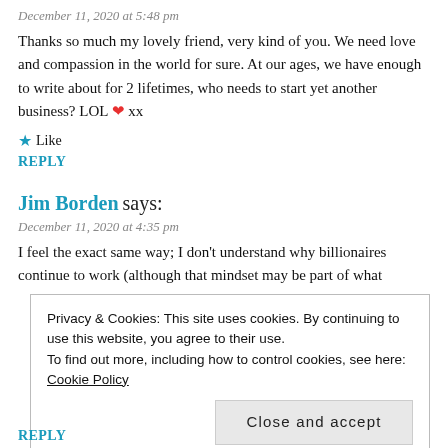December 11, 2020 at 5:48 pm
Thanks so much my lovely friend, very kind of you. We need love and compassion in the world for sure. At our ages, we have enough to write about for 2 lifetimes, who needs to start yet another business? LOL ❤ xx
★ Like
REPLY
Jim Borden says:
December 11, 2020 at 4:35 pm
I feel the exact same way; I don't understand why billionaires continue to work (although that mindset may be part of what
Privacy & Cookies: This site uses cookies. By continuing to use this website, you agree to their use.
To find out more, including how to control cookies, see here: Cookie Policy
Close and accept
REPLY